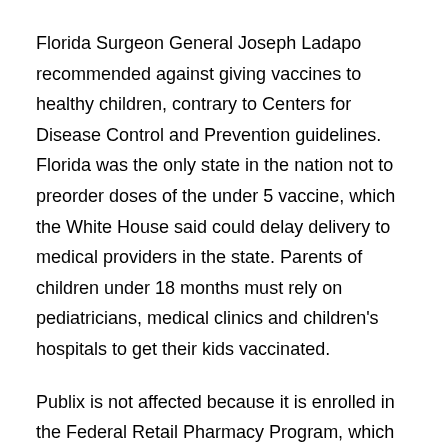Florida Surgeon General Joseph Ladapo recommended against giving vaccines to healthy children, contrary to Centers for Disease Control and Prevention guidelines. Florida was the only state in the nation not to preorder doses of the under 5 vaccine, which the White House said could delay delivery to medical providers in the state. Parents of children under 18 months must rely on pediatricians, medical clinics and children's hospitals to get their kids vaccinated.
Publix is not affected because it is enrolled in the Federal Retail Pharmacy Program, which means it orders vaccine doses directly from the federal government.
Related: Got questions about COVID vaccines for babies and toddlers? Here are the answers. The governor tapped Publix to become a key part of Florida's vaccine rollout in early 2021. By that April, the grocery chain was